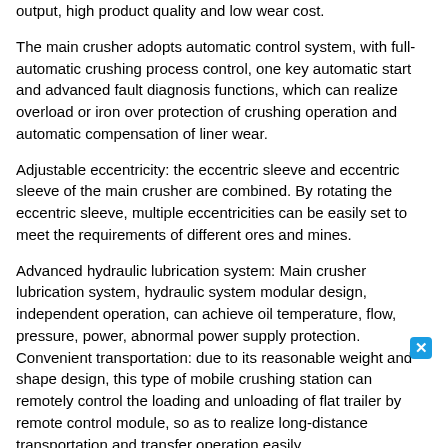output, high product quality and low wear cost.
The main crusher adopts automatic control system, with full-automatic crushing process control, one key automatic start and advanced fault diagnosis functions, which can realize overload or iron over protection of crushing operation and automatic compensation of liner wear.
Adjustable eccentricity: the eccentric sleeve and eccentric sleeve of the main crusher are combined. By rotating the eccentric sleeve, multiple eccentricities can be easily set to meet the requirements of different ores and mines.
Advanced hydraulic lubrication system: Main crusher lubrication system, hydraulic system modular design, independent operation, can achieve oil temperature, flow, pressure, power, abnormal power supply protection. Convenient transportation: due to its reasonable weight and shape design, this type of mobile crushing station can remotely control the loading and unloading of flat trailer by remote control module, so as to realize long-distance transportation and transfer operation easily.